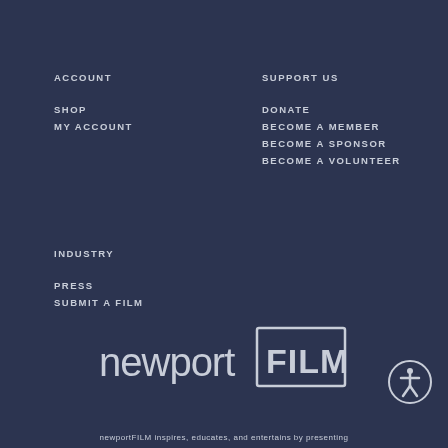ACCOUNT
SHOP
MY ACCOUNT
SUPPORT US
DONATE
BECOME A MEMBER
BECOME A SPONSOR
BECOME A VOLUNTEER
INDUSTRY
PRESS
SUBMIT A FILM
[Figure (logo): newport FILM logo — lowercase 'newport' followed by 'FILM' in a box outline]
newportFILM inspires, educates, and entertains by presenting